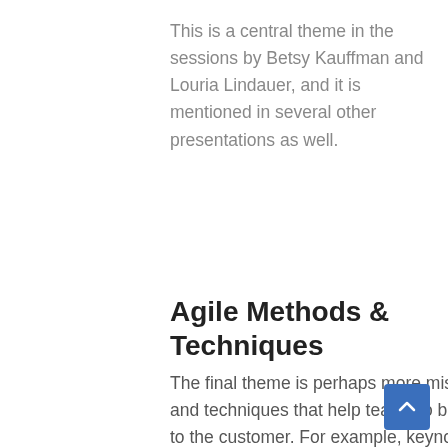This is a central theme in the sessions by Betsy Kauffman and Louria Lindauer, and it is mentioned in several other presentations as well.
Agile Methods & Techniques
The final theme is perhaps more miscellaneous, as it relates to various kinds of agile methods and techniques that help teams to be high-performing, work with stakeholders, and deliver value to the customer. For example, keynote speaker Patricia Kong from Scrum.org will explain how you can measure the value of the outcomes that you deliver using metrics that work for you. Renee Liken, Product Owner at FordLabs of Ford Motor Company, will